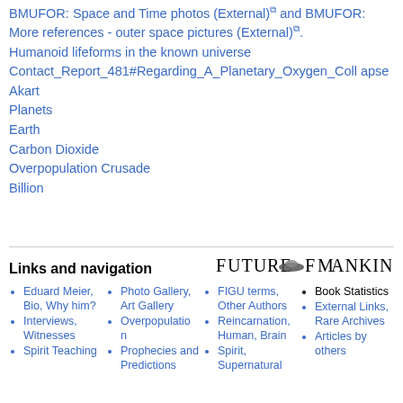BMUFOR: Space and Time photos (External) and BMUFOR: More references - outer space pictures (External).
Humanoid lifeforms in the known universe
Contact_Report_481#Regarding_A_Planetary_Oxygen_Collapse
Akart
Planets
Earth
Carbon Dioxide
Overpopulation Crusade
Billion
Links and navigation
[Figure (logo): Future of Mankind logo with stylized text and UFO/spaceship icon]
Eduard Meier, Bio, Why him?
Interviews, Witnesses
Spirit Teaching
Photo Gallery, Art Gallery
Overpopulation
Prophecies and Predictions
FIGU terms, Other Authors
Reincarnation, Human, Brain
Spirit, Supernatural
Book Statistics
External Links, Rare Archives
Articles by others